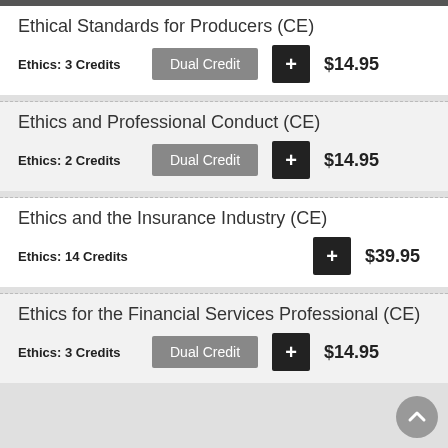Ethical Standards for Producers (CE)
Ethics: 3 Credits  Dual Credit  +  $14.95
Ethics and Professional Conduct (CE)
Ethics: 2 Credits  Dual Credit  +  $14.95
Ethics and the Insurance Industry (CE)
Ethics: 14 Credits  +  $39.95
Ethics for the Financial Services Professional (CE)
Ethics: 3 Credits  Dual Credit  +  $14.95